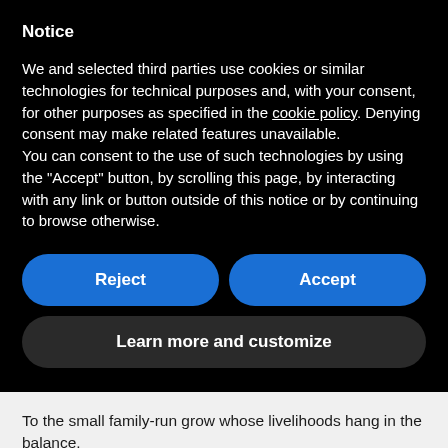Notice
We and selected third parties use cookies or similar technologies for technical purposes and, with your consent, for other purposes as specified in the cookie policy. Denying consent may make related features unavailable.
You can consent to the use of such technologies by using the "Accept" button, by scrolling this page, by interacting with any link or button outside of this notice or by continuing to browse otherwise.
Reject
Accept
Learn more and customize
To the small family-run grow whose livelihoods hang in the balance.
Because here’s the thing . . .